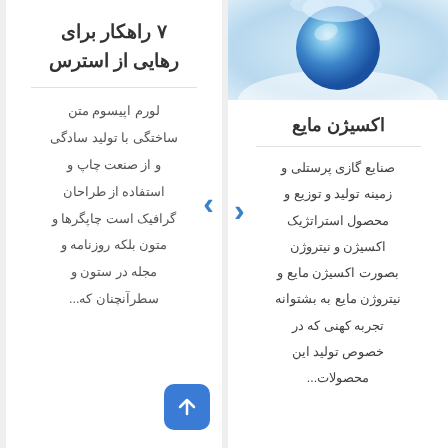[Figure (photo): Blue globe/ball on white snowy background, top portion of left card]
اکسیژن مایع
صنایع گازی پرستلی و
زمینه تولید و توزیع و
محصول استراتژیک
اکسیژن و نیتروژن
بصورت اکسیژن مایع و
نیتروژن مایع به بشتوانه
تجربه کهنی که در
خصوص تولید این
محصولات...
۷ راهکار برای رهایی از استرس
لورم اپیسوم متن
ساختگی با تولید سادگی
و از صنعت چاپ و
استفاده از طراحان
گرافیک است چاپگرها و
متون بلکه روزنامه و
مجله در ستون و
سطرآنچنان که...